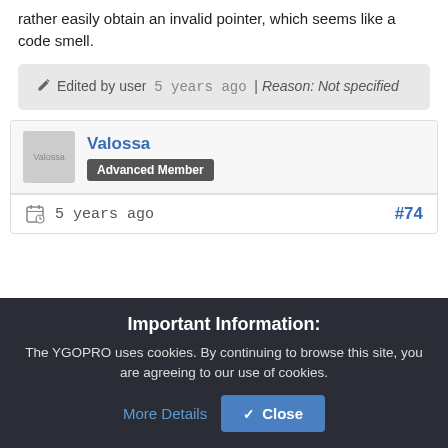rather easily obtain an invalid pointer, which seems like a code smell.
Edited by user  5 years ago  | Reason: Not specified
Valossa
Advanced Member
5 years ago
#74
Important Information:
The YGOPRO uses cookies. By continuing to browse this site, you are agreeing to our use of cookies.
More Details   ✓ Close